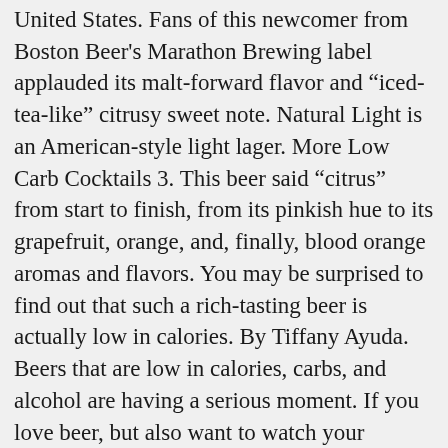United States. Fans of this newcomer from Boston Beer's Marathon Brewing label applauded its malt-forward flavor and “iced-tea-like” citrusy sweet note. Natural Light is an American-style light lager. More Low Carb Cocktails 3. This beer said “citrus” from start to finish, from its pinkish hue to its grapefruit, orange, and, finally, blood orange aromas and flavors. You may be surprised to find out that such a rich-tasting beer is actually low in calories. By Tiffany Ayuda. Beers that are low in calories, carbs, and alcohol are having a serious moment. If you love beer, but also want to watch your calories, these brews will keep you from filling up without skimping on flavour. Natural Light is one of the best low carb beers because it’ll help keep your waistline thin and your wallet fat! Light yet flavorful like the best kind of session IPAs, “the flavor is not compromised at all,” another panelist said. With summer in the air, we are in for barbeques and parties! With an eight percent ABV, this is a great option